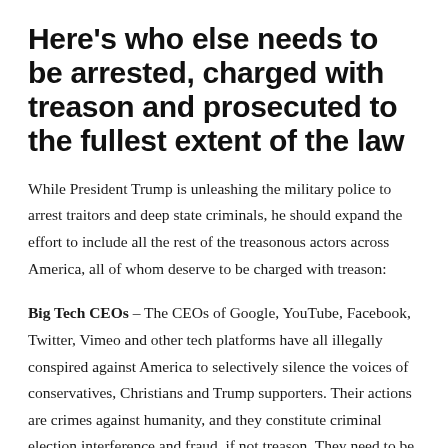Here's who else needs to be arrested, charged with treason and prosecuted to the fullest extent of the law
While President Trump is unleashing the military police to arrest traitors and deep state criminals, he should expand the effort to include all the rest of the treasonous actors across America, all of whom deserve to be charged with treason:
Big Tech CEOs – The CEOs of Google, YouTube, Facebook, Twitter, Vimeo and other tech platforms have all illegally conspired against America to selectively silence the voices of conservatives, Christians and Trump supporters. Their actions are crimes against humanity, and they constitute criminal election interference and fraud, if not treason. They need to be taken down and prosecuted.